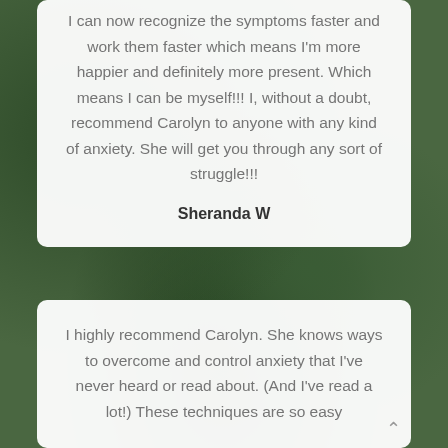I can now recognize the symptoms faster and work them faster which means I'm more happier and definitely more present. Which means I can be myself!!! I, without a doubt, recommend Carolyn to anyone with any kind of anxiety. She will get you through any sort of struggle!!!
Sheranda W
I highly recommend Carolyn. She knows ways to overcome and control anxiety that I've never heard or read about. (And I've read a lot!) These techniques are so easy